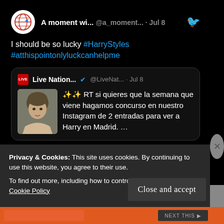[Figure (screenshot): Screenshot of a tweet from @a_moment... on Jul 8 saying 'I should be so lucky #HarryStyles #atthispointonlyluckcanhelpme', with a quoted tweet from Live Nation (@LiveNat...) on Jul 8 with a photo of Harry Styles and Spanish text about a contest for 2 tickets to see Harry in Madrid.]
Privacy & Cookies: This site uses cookies. By continuing to use this website, you agree to their use.
To find out more, including how to control cookies, see here: Cookie Policy
Close and accept